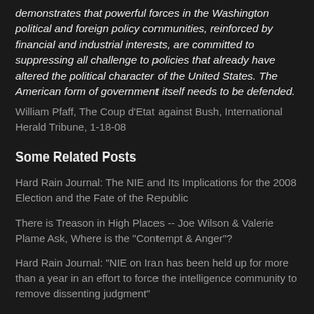demonstrates that powerful forces in the Washington political and foreign policy communities, reinforced by financial and industrial interests, are committed to suppressing all challenge to policies that already have altered the political character of the United States. The American form of government itself needs to be defended.
William Pfaff, The Coup d'Etat against Bush, International Herald Tribune, 1-18-08
Some Related Posts
Hard Rain Journal: The NIE and Its Implications for the 2008 Election and the Fate of the Republic
There is Treason in High Places -- Joe Wilson & Valerie Plame Ask, Where is the "Contempt & Anger"?
Hard Rain Journal: "NIE on Iran has been held up for more than a year in an effort to force the intelligence community to remove dissenting judgment"
Larry Johnson, Valerie Plame & 22 Others Sign Letter from